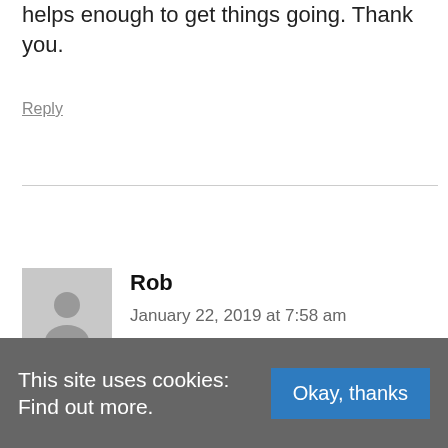helps enough to get things going. Thank you.
Reply
Rob
January 22, 2019 at 7:58 am
Thanks for this comment Mark. It all does come down to writing and to be honest, the free youtube videos already lay this down in simple terms. I don't know how manay times I have
This site uses cookies: Find out more.
Okay, thanks